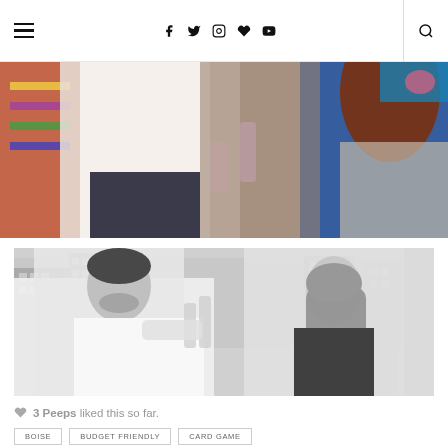Navigation header with hamburger menu, social icons (Facebook, Twitter, Instagram, Heart, YouTube), and search icon
[Figure (photo): Couple sitting on a colorful couch holding wine glasses; woman in blue top with red hair, man in white shirt]
[Figure (photo): Black and white photo of a couple toasting with wine glasses on a rooftop with city skyline in background]
3 Peeps liked this so far.
BOISE   BUDGET FRIENDLY   CARD GAME